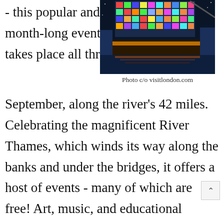- this popular and month-long event takes place all through
[Figure (photo): A colorful illuminated art installation on a barge on the River Thames at night, with city lights reflected in the water.]
Photo c/o visitlondon.com
September, along the river's 42 miles. Celebrating the magnificent River Thames, which winds its way along the banks and under the bridges, it offers a host of events - many of which are free! Art, music, and educational events will be on offer both o the water and along its banks and bridge various riverside locations from Westminster Bridge to Tower Bridge and beyond S